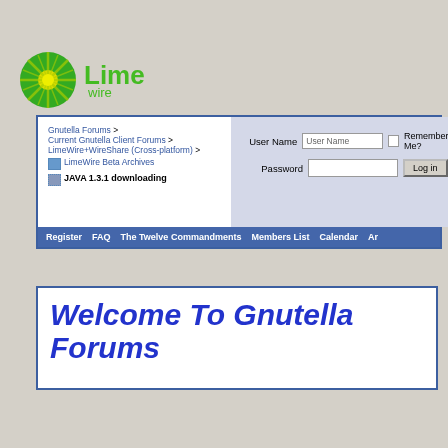[Figure (logo): LimeWire logo: green circular starburst icon with 'Lime' in large green text and 'wire' below in smaller green text]
Gnutella Forums > Current Gnutella Client Forums > LimeWire+WireShare (Cross-platform) > LimeWire Beta Archives
JAVA 1.3.1 downloading
User Name | Password | Remember Me? | Log in
Register  FAQ  The Twelve Commandments  Members List  Calendar  Ar...
Welcome To Gnutella Forums